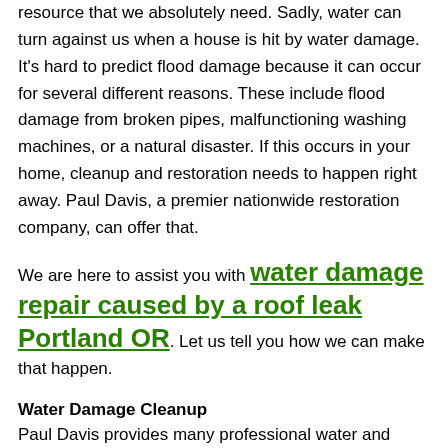resource that we absolutely need. Sadly, water can turn against us when a house is hit by water damage. It's hard to predict flood damage because it can occur for several different reasons. These include flood damage from broken pipes, malfunctioning washing machines, or a natural disaster. If this occurs in your home, cleanup and restoration needs to happen right away. Paul Davis, a premier nationwide restoration company, can offer that.
We are here to assist you with water damage repair caused by a roof leak Portland OR. Let us tell you how we can make that happen.
Water Damage Cleanup
Paul Davis provides many professional water and flood damage restoration and cleanup services around the country to help people put their lives back in order following an experience with flooding, leaking, or other sources of flood damage. These services include removal of